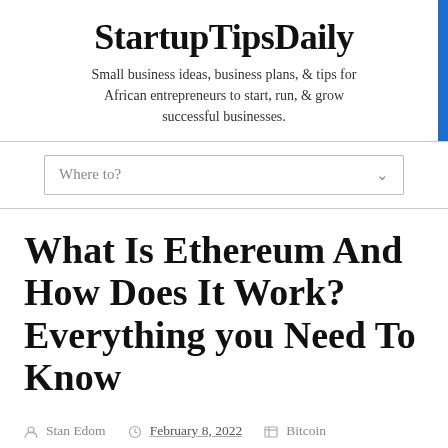StartupTipsDaily
Small business ideas, business plans, & tips for African entrepreneurs to start, run, & grow successful businesses.
Where to?
What Is Ethereum And How Does It Work? Everything you Need To Know
Stan Edom  February 8, 2022  Bitcoin